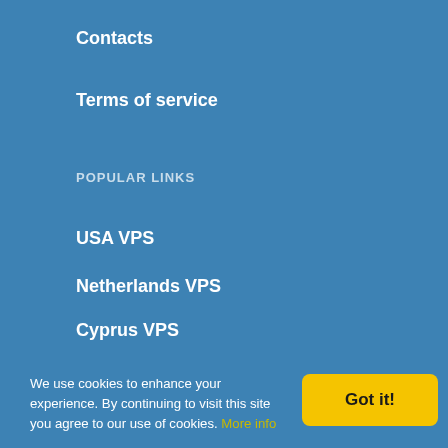Contacts
Terms of service
POPULAR LINKS
USA VPS
Netherlands VPS
Cyprus VPS
Latvia VPS
Moldova VPS
Ukraine VPS
Hong Kong VPS
We use cookies to enhance your experience. By continuing to visit this site you agree to our use of cookies. More info